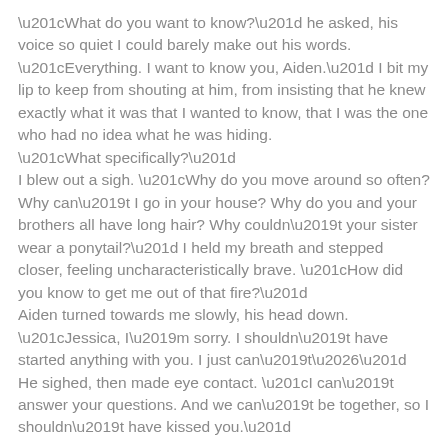“What do you want to know?” he asked, his voice so quiet I could barely make out his words.
“Everything. I want to know you, Aiden.” I bit my lip to keep from shouting at him, from insisting that he knew exactly what it was that I wanted to know, that I was the one who had no idea what he was hiding.
“What specifically?”
I blew out a sigh. “Why do you move around so often? Why can’t I go in your house? Why do you and your brothers all have long hair? Why couldn’t your sister wear a ponytail?” I held my breath and stepped closer, feeling uncharacteristically brave. “How did you know to get me out of that fire?”
Aiden turned towards me slowly, his head down. “Jessica, I’m sorry. I shouldn’t have started anything with you. I just can’t…” He sighed, then made eye contact. “I can’t answer your questions. And we can’t be together, so I shouldn’t have kissed you.”